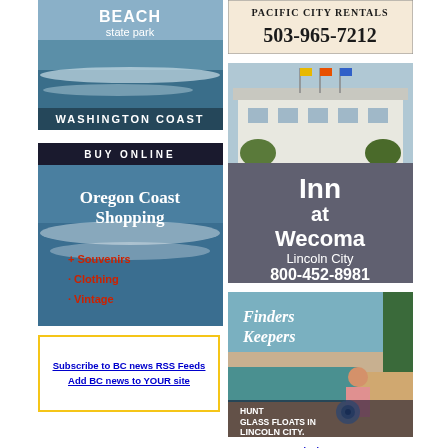[Figure (illustration): Beach state park / Washington Coast advertisement with ocean wave photo]
[Figure (illustration): Oregon Coast Shopping - Buy Online - Souvenirs, Clothing, Vintage advertisement]
Subscribe to BC news RSS Feeds
Add BC news to YOUR site
[Figure (illustration): Pacific City Rentals 503-965-7212 advertisement]
[Figure (photo): Inn at Wecoma Lincoln City 800-452-8981 advertisement with photo of inn]
[Figure (illustration): Finders Keepers - Hunt Glass Floats in Lincoln City advertisement]
LCity is Open